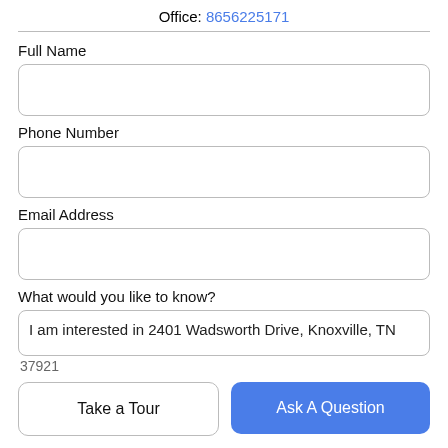Office: 8656225171
Full Name
Phone Number
Email Address
What would you like to know?
I am interested in 2401 Wadsworth Drive, Knoxville, TN 37921
Take a Tour
Ask A Question